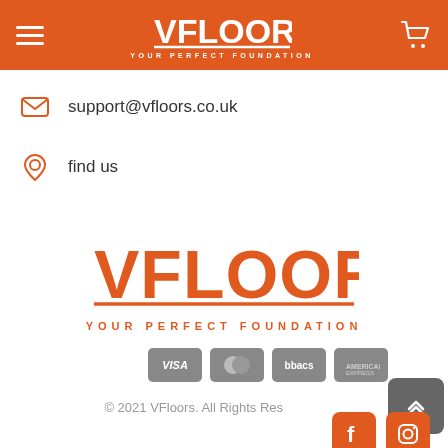VFLOORS YOUR PERFECT FOUNDATION - navigation header
support@vfloors.co.uk
find us
[Figure (logo): VFloors logo - orange text reading VFLOORS with tagline YOUR PERFECT FOUNDATION]
[Figure (other): Payment method badges: VISA, MasterCard, Bacs, American Express]
© 2021 VFloors. All Rights Reserved